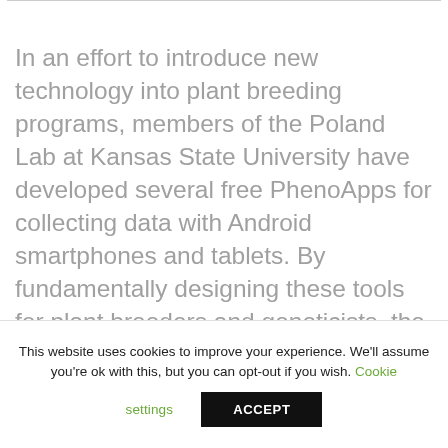In an effort to introduce new technology into plant breeding programs, members of the Poland Lab at Kansas State University have developed several free PhenoApps for collecting data with Android smartphones and tablets. By fundamentally designing these tools for plant breeders and geneticists, the group hopes to improve specific areas in the plant breeding process where data management remains difficult.
This website uses cookies to improve your experience. We'll assume you're ok with this, but you can opt-out if you wish. Cookie settings ACCEPT